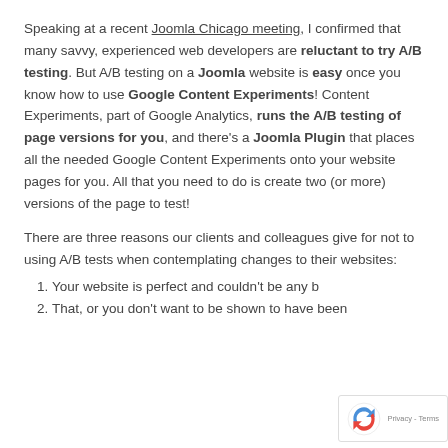Speaking at a recent Joomla Chicago meeting, I confirmed that many savvy, experienced web developers are reluctant to try A/B testing. But A/B testing on a Joomla website is easy once you know how to use Google Content Experiments! Content Experiments, part of Google Analytics, runs the A/B testing of page versions for you, and there's a Joomla Plugin that places all the needed Google Content Experiments onto your website pages for you. All that you need to do is create two (or more) versions of the page to test!
There are three reasons our clients and colleagues give for not to using A/B tests when contemplating changes to their websites:
Your website is perfect and couldn't be any b...
That, or you don't want to be shown to have been...